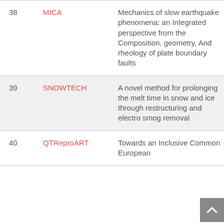| # | Acronym | Title | Year |
| --- | --- | --- | --- |
| 38 | MICA | Mechanics of slow earthquake phenomena: an Integrated perspective from the Composition, geometry, And rheology of plate boundary faults | 20… |
| 39 | SNOWTECH | A novel method for prolonging the melt time in snow and ice through restructuring and electro smog removal | 20… |
| 40 | QTReproART | Towards an Inclusive Common European… | 20… |